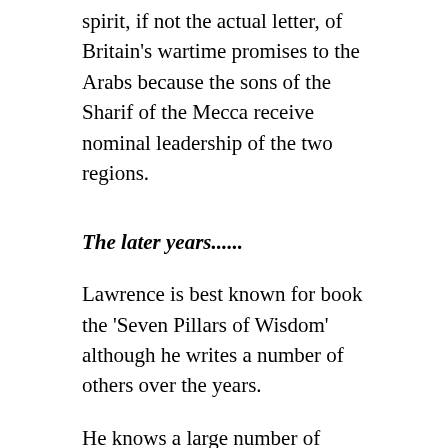spirit, if not the actual letter, of Britain's wartime promises to the Arabs because the sons of the Sharif of the Mecca receive nominal leadership of the two regions.
The later years......
Lawrence is best known for book the 'Seven Pillars of Wisdom' although he writes a number of others over the years.
He knows a large number of people, many famous and quite a few literary. We hear of a number of these platonic relationships. It is obvious, however, that he is not happy.